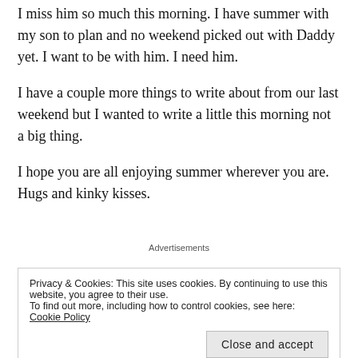I miss him so much this morning. I have summer with my son to plan and no weekend picked out with Daddy yet. I want to be with him. I need him.
I have a couple more things to write about from our last weekend but I wanted to write a little this morning not a big thing.
I hope you are all enjoying summer wherever you are. Hugs and kinky kisses.
Advertisements
Privacy & Cookies: This site uses cookies. By continuing to use this website, you agree to their use. To find out more, including how to control cookies, see here: Cookie Policy
Close and accept
[Figure (other): Blue advertisement banner with text 'Your Journal for life']